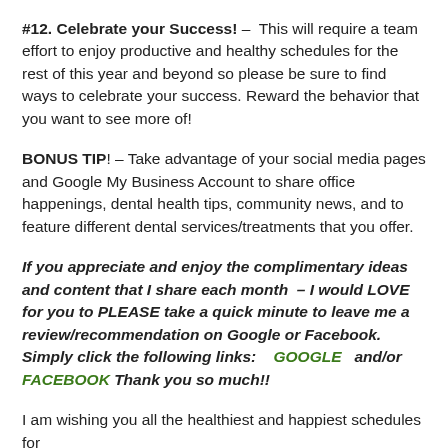#12. Celebrate your Success! – This will require a team effort to enjoy productive and healthy schedules for the rest of this year and beyond so please be sure to find ways to celebrate your success. Reward the behavior that you want to see more of!
BONUS TIP! – Take advantage of your social media pages and Google My Business Account to share office happenings, dental health tips, community news, and to feature different dental services/treatments that you offer.
If you appreciate and enjoy the complimentary ideas and content that I share each month – I would LOVE for you to PLEASE take a quick minute to leave me a review/recommendation on Google or Facebook. Simply click the following links: GOOGLE and/or FACEBOOK Thank you so much!!
I am wishing you all the healthiest and happiest schedules for